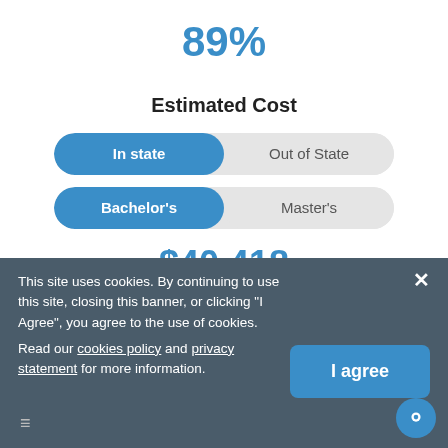89%
Estimated Cost
In state | Out of State (toggle)
Bachelor's | Master's (toggle)
$40,418
Financial Aid
Students
Overview
This site uses cookies. By continuing to use this site, closing this banner, or clicking "I Agree", you agree to the use of cookies. Read our cookies policy and privacy statement for more information.